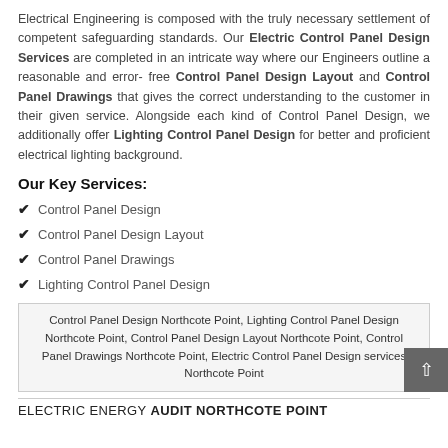Electrical Engineering is composed with the truly necessary settlement of competent safeguarding standards. Our Electric Control Panel Design Services are completed in an intricate way where our Engineers outline a reasonable and error- free Control Panel Design Layout and Control Panel Drawings that gives the correct understanding to the customer in their given service. Alongside each kind of Control Panel Design, we additionally offer Lighting Control Panel Design for better and proficient electrical lighting background.
Our Key Services:
Control Panel Design
Control Panel Design Layout
Control Panel Drawings
Lighting Control Panel Design
Control Panel Design Northcote Point, Lighting Control Panel Design Northcote Point, Control Panel Design Layout Northcote Point, Control Panel Drawings Northcote Point, Electric Control Panel Design services Northcote Point
ELECTRIC ENERGY AUDIT NORTHCOTE POINT